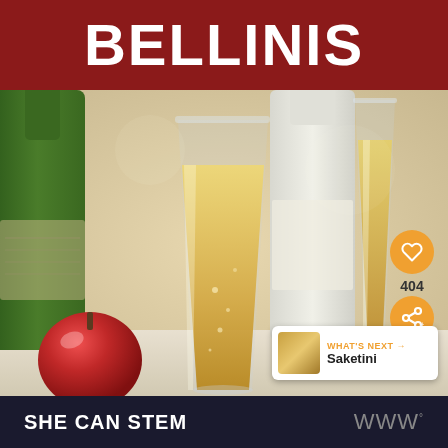BELLINIS
[Figure (photo): Two champagne flutes filled with golden Bellini cocktail, with a green wine bottle, white bottle, and red apple visible in the background on a light surface.]
404
[Figure (photo): Thumbnail image of a Saketini cocktail]
WHAT'S NEXT → Saketini
SHE CAN STEM